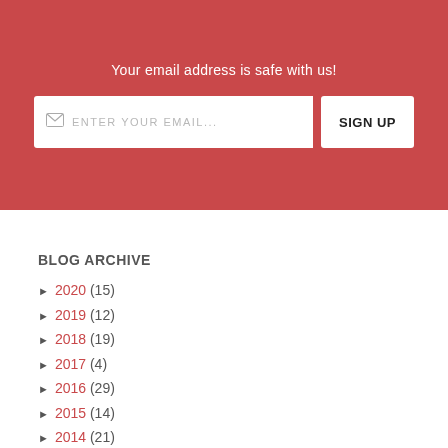Your email address is safe with us!
[Figure (other): Email signup form with input field and SIGN UP button on red background]
BLOG ARCHIVE
► 2020 (15)
► 2019 (12)
► 2018 (19)
► 2017 (4)
► 2016 (29)
► 2015 (14)
► 2014 (21)
▼ 2013 (94)
► December (1)
▼ November (17)
How to Add an Email Address to your Safe Senders' ...